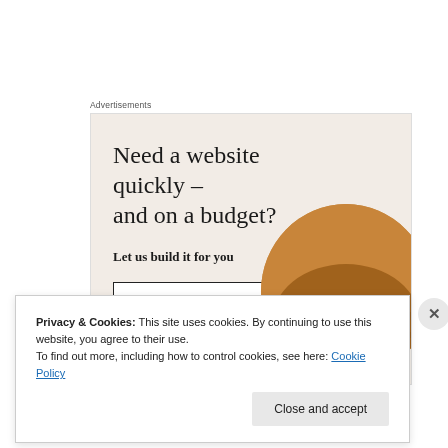Advertisements
[Figure (illustration): Advertisement banner with beige background showing headline 'Need a website quickly – and on a budget?', subtext 'Let us build it for you', a 'Let's get started' button, and a circular photo of a person working on a laptop.]
Privacy & Cookies: This site uses cookies. By continuing to use this website, you agree to their use.
To find out more, including how to control cookies, see here: Cookie Policy
Close and accept